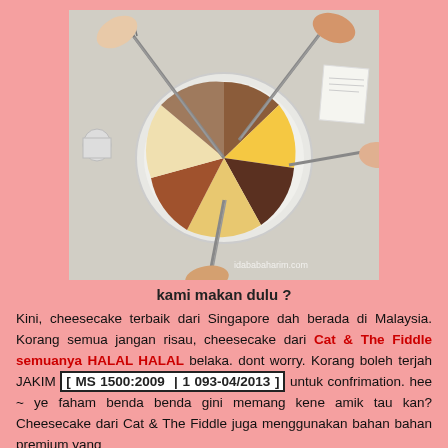[Figure (photo): Overhead view of multiple people using forks to eat slices of cheesecake on a white plate, with watermark 'idababaharim.com']
kami makan dulu ?
Kini, cheesecake terbaik dari Singapore dah berada di Malaysia. Korang semua jangan risau, cheesecake dari Cat & The Fiddle semuanya HALAL HALAL belaka. dont worry. Korang boleh terjah JAKIM [ MS 1500:2009 | 1 093-04/2013 ] untuk confrimation. hee ~ ye faham benda benda gini memang kene amik tau kan? Cheesecake dari Cat & The Fiddle juga menggunakan bahan bahan premium yang